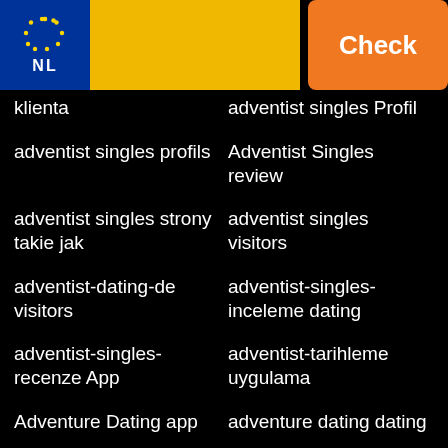[Figure (logo): Header with Netherlands license plate flag (blue with EU stars and NL text), yellow/gold bar, and orange Check button]
klienta
adventist singles Profil
adventist singles profils
Adventist Singles review
adventist singles strony takie jak
adventist singles visitors
adventist-dating-de visitors
adventist-singles-inceleme dating
adventist-singles-recenze App
adventist-tarihleme uygulama
Adventure Dating app
adventure dating dating
Adventure Dating